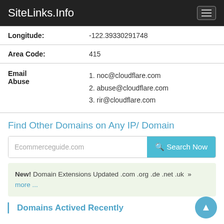SiteLinks.Info
| Longitude: | -122.39330291748 |
| Area Code: | 415 |
| Email Abuse | 1. noc@cloudflare.com
2. abuse@cloudflare.com
3. rir@cloudflare.com |
Find Other Domains on Any IP/ Domain
Ecommerceguide.com [Search Now]
New! Domain Extensions Updated .com .org .de .net .uk » more ...
Domains Actived Recently